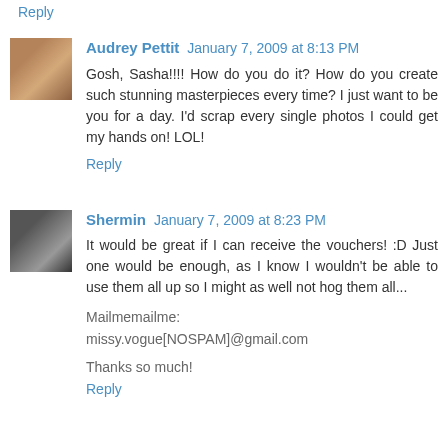Reply
Audrey Pettit January 7, 2009 at 8:13 PM
Gosh, Sasha!!!! How do you do it? How do you create such stunning masterpieces every time? I just want to be you for a day. I'd scrap every single photos I could get my hands on! LOL!
Reply
Shermin January 7, 2009 at 8:23 PM
It would be great if I can receive the vouchers! :D Just one would be enough, as I know I wouldn't be able to use them all up so I might as well not hog them all...
Mailmemailme: missy.vogue[NOSPAM]@gmail.com
Thanks so much!
Reply